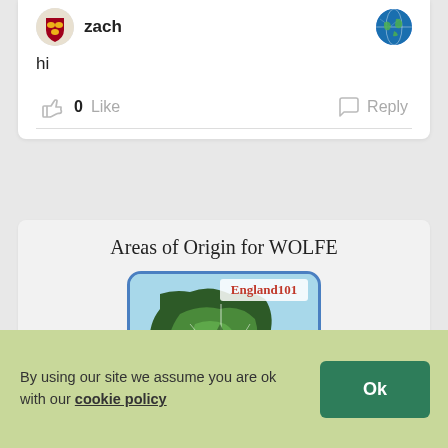zach
hi
0 Like
Reply
Areas of Origin for WOLFE
[Figure (map): Map of England with England101 label and Lancashire Quiz caption, shown inside a rounded blue-bordered frame]
By using our site we assume you are ok with our cookie policy
Ok